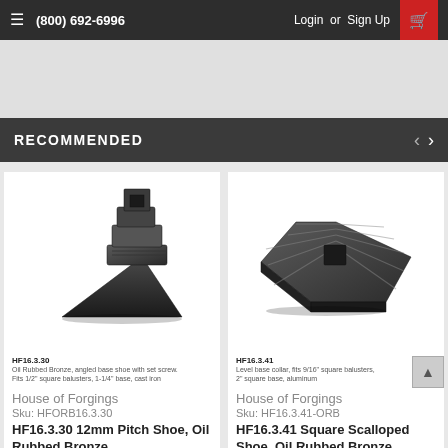(800) 692-6996   Login or Sign Up
RECOMMENDED
[Figure (photo): HF16.3.30 - Oil Rubbed Bronze angled base shoe with set screw, fits 1/2 square balusters, 1-1/4 base, cast iron product photo]
HF16.3.30
Oil Rubbed Bronze, angled base shoe with set screw. Fits 1/2" square balusters, 1-1/4" base, cast iron
House of Forgings
Sku: HFORB16.3.30
HF16.3.30 12mm Pitch Shoe, Oil Rubbed Bronze
[Figure (photo): HF16.3.41 - Level base collar, fits 9/16 square balusters, 2 square base, aluminum product photo]
HF16.3.41
Level base collar, fits 9/16" square balusters, 2" square base, aluminum
House of Forgings
Sku: HF16.3.41-ORB
HF16.3.41 Square Scalloped Shoe, Oil Rubbed Bronze